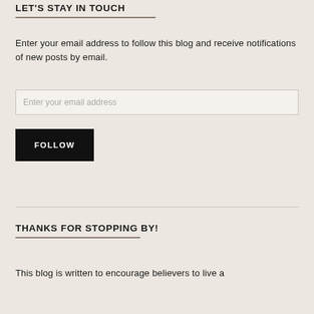LET'S STAY IN TOUCH
Enter your email address to follow this blog and receive notifications of new posts by email.
Enter your email address
FOLLOW
THANKS FOR STOPPING BY!
This blog is written to encourage believers to live a